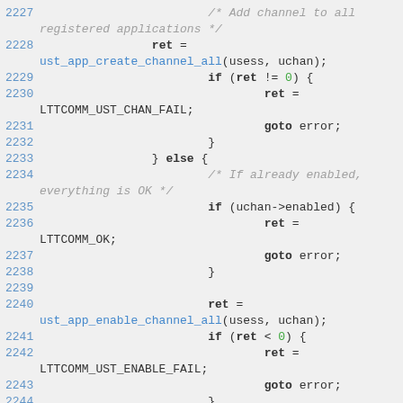2227    /* Add channel to all registered applications */
2228            ret =
ust_app_create_channel_all(usess, uchan);
2229                    if (ret != 0) {
2230                            ret =
LTTCOMM_UST_CHAN_FAIL;
2231                            goto error;
2232                    }
2233            } else {
2234                    /* If already enabled, everything is OK */
2235                    if (uchan->enabled) {
2236                            ret =
LTTCOMM_OK;
2237                            goto error;
2238                    }
2239
2240                    ret =
ust_app_enable_channel_all(usess, uchan);
2241                    if (ret < 0) {
2242                            ret =
LTTCOMM_UST_ENABLE_FAIL;
2243                            goto error;
2244            }